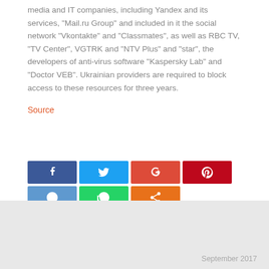media and IT companies, including Yandex and its services, 'Mail.ru Group' and included in it the social network 'Vkontakte' and 'Classmates', as well as RBC TV, 'TV Center', VGTRK and 'NTV Plus' and 'star', the developers of anti-virus software 'Kaspersky Lab' and 'Doctor VEB'. Ukrainian providers are required to block access to these resources for three years.
Source
[Figure (infographic): Social media sharing buttons: Facebook (blue), Twitter (light blue), Google+ (red-orange), Pinterest (dark red), Reddit (blue), WhatsApp (green), Share (orange)]
September 2017